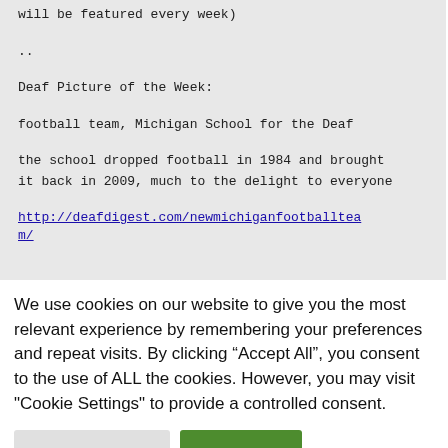will be featured every week)
..
Deaf Picture of the Week:
football team, Michigan School for the Deaf
the school dropped football in 1984 and brought it back in 2009, much to the delight to everyone
http://deafdigest.com/newmichiganfootballtea m/
We use cookies on our website to give you the most relevant experience by remembering your preferences and repeat visits. By clicking “Accept All”, you consent to the use of ALL the cookies. However, you may visit "Cookie Settings" to provide a controlled consent.
Cookie Settings
Accept All